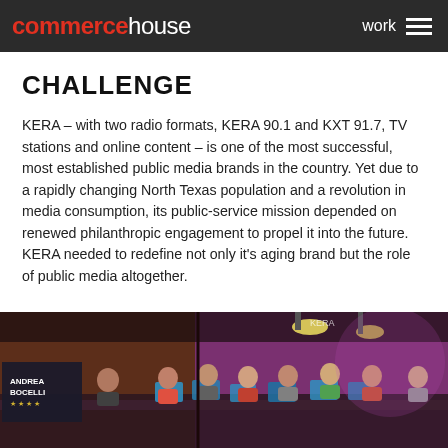commerce house   work
CHALLENGE
KERA – with two radio formats, KERA 90.1 and KXT 91.7, TV stations and online content – is one of the most successful, most established public media brands in the country. Yet due to a rapidly changing North Texas population and a revolution in media consumption, its public-service mission depended on renewed philanthropic engagement to propel it into the future. KERA needed to redefine not only it's aging brand but the role of public media altogether.
[Figure (photo): A TV studio scene with audience/phone bank volunteers seated at desks with laptops, applauding, against a purple and dark background. A banner reading 'ANDREA BOCELLI' is visible on the left.]